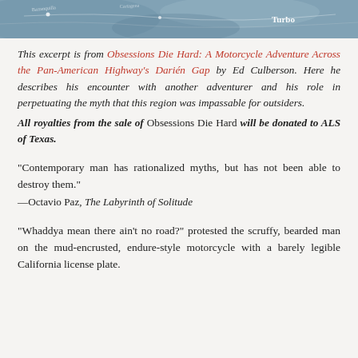[Figure (photo): A partial map image with terrain and location names visible, with 'Turbo' text visible in the upper right corner.]
This excerpt is from Obsessions Die Hard: A Motorcycle Adventure Across the Pan-American Highway's Darién Gap by Ed Culberson. Here he describes his encounter with another adventurer and his role in perpetuating the myth that this region was impassable for outsiders.
All royalties from the sale of Obsessions Die Hard will be donated to ALS of Texas.
“Contemporary man has rationalized myths, but has not been able to destroy them.”
—Octavio Paz, The Labyrinth of Solitude
“Whaddya mean there ain’t no road?” protested the scruffy, bearded man on the mud-encrusted, endure-style motorcycle with a barely legible California license plate.